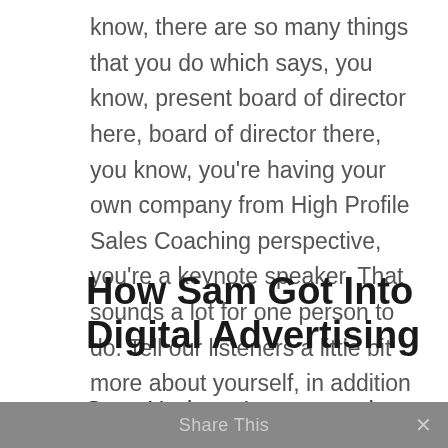know, there are so many things that you do which says, you know, present board of director here, board of director there, you know, you're having your own company from High Profile Sales Coaching perspective, you're a keynote speaker. That sounds a lot for one person to do. Tell our listeners a little bit more about yourself, in addition to what you just shared, that you kind of, at some point worked in digital advertising.
How Sam Got Into Digital Advertising
Sam: Yeah, so I guess my day job is I'm a professional speaker. Three months ago, I would
Share This